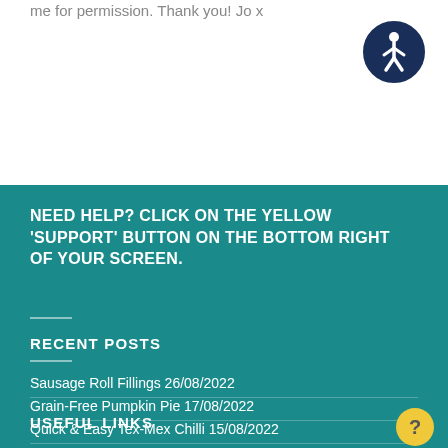me for permission. Thank you! Jo x
[Figure (other): Accessibility icon - circular dark navy badge with white person in wheelchair/human figure symbol]
NEED HELP? CLICK ON THE YELLOW 'SUPPORT' BUTTON ON THE BOTTOM RIGHT OF YOUR SCREEN.
RECENT POSTS
Sausage Roll Fillings 26/08/2022
Grain-Free Pumpkin Pie 17/08/2022
Quick & Easy Tex-Mex Chilli 15/08/2022
USEFUL LINKS
[Figure (other): Yellow circular button with question mark icon]